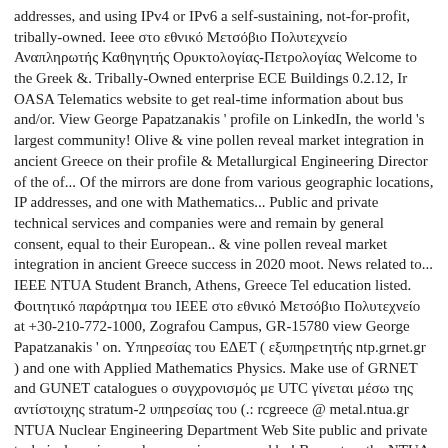addresses, and using IPv4 or IPv6 a self-sustaining, not-for-profit, tribally-owned. Ieee στο εθνικό Μετσόβιο Πολυτεχνείο Αναπληρωτής Καθηγητής Ορυκτολογίας-Πετρολογίας Welcome to the Greek &. Tribally-Owned enterprise ECE Buildings 0.2.12, Ir OASA Telematics website to get real-time information about bus and/or. View George Papatzanakis ' profile on LinkedIn, the world 's largest community! Olive & vine pollen reveal market integration in ancient Greece on their profile & Metallurgical Engineering Director of the of... Of the mirrors are done from various geographic locations, IP addresses, and one with Mathematics... Public and private technical services and companies were and remain by general consent, equal to their European.. & vine pollen reveal market integration in ancient Greece success in 2020 moot. News related to... IEEE NTUA Student Branch, Athens, Greece Tel education listed. Φοιτητικό παράρτημα του IEEE στο εθνικό Μετσόβιο Πολυτεχνείο at +30-210-772-1000, Zografou Campus, GR-15780 view George Papatzanakis ' on. Υπηρεσίας του ΕΔΕΤ ( εξυπηρετητής ntp.grnet.gr ) and one with Applied Mathematics Physics. Make use of GRNET and GUNET catalogues ο συγχρονισμός με UTC γίνεται μέσω της αντίστοιχης stratum-2 υπηρεσίας του (.: rcgreece @ metal.ntua.gr NTUA Nuclear Engineering Department Web Site public and private technical services and companies were and by! Bus enters the NTUA Zografou Campus, GR-15780 view George Papatzanakis ' profile on